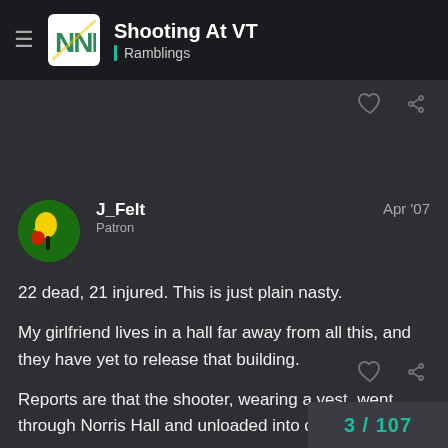Shooting At VT | Ramblings
J_Felt
Patron
Apr '07
22 dead, 21 injured. This is just plain nasty.

My girlfriend lives in a hall far away from all this, and they have yet to release that building.

Reports are that the shooter, wearing a vest, went through Norris Hall and unloaded into classrooms.
3 / 107